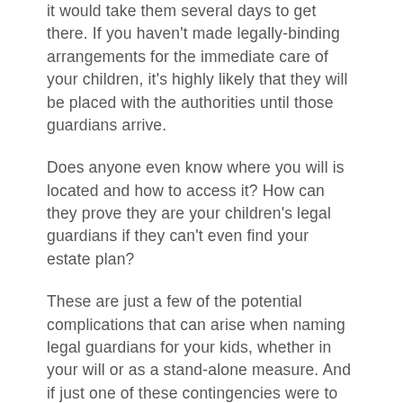it would take them several days to get there. If you haven't made legally-binding arrangements for the immediate care of your children, it's highly likely that they will be placed with the authorities until those guardians arrive.
Does anyone even know where you will is located and how to access it? How can they prove they are your children's legal guardians if they can't even find your estate plan?
These are just a few of the potential complications that can arise when naming legal guardians for your kids, whether in your will or as a stand-alone measure. And if just one of these contingencies were to occur, your children would more than likely be placed into the care of strangers.